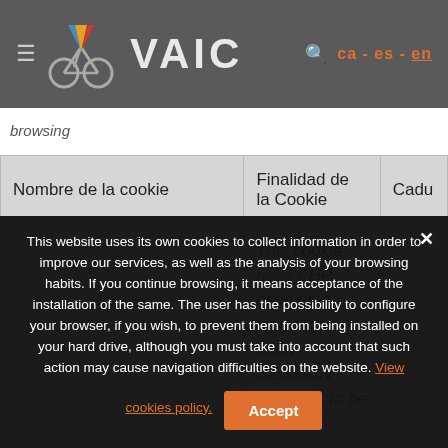VAIC — ca - es - en
browsing
| Nombre de la cookie | Finalidad de la Cookie | Cadu |
| --- | --- | --- |
|  | This cookie uses PHP encrypted language to allow SESSION variables to be stored on... |  |
This website uses its own cookies to collect information in order to improve our services, as well as the analysis of your browsing habits. If you continue browsing, it means acceptance of the installation of the same. The user has the possibility to configure your browser, if you wish, to prevent them from being installed on your hard drive, although you must take into account that such action may cause navigation difficulties on the website. View cookies policy.